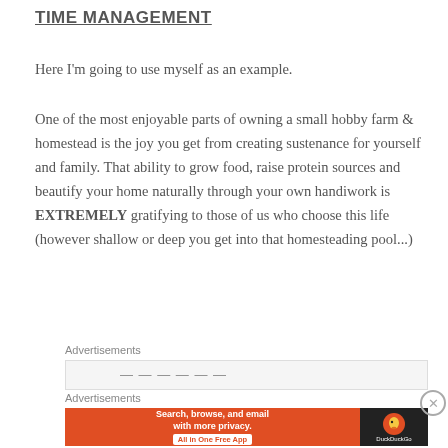TIME MANAGEMENT
Here I'm going to use myself as an example.
One of the most enjoyable parts of owning a small hobby farm & homestead is the joy you get from creating sustenance for yourself and family. That ability to grow food, raise protein sources and beautify your home naturally through your own handiwork is EXTREMELY gratifying to those of us who choose this life (however shallow or deep you get into that homesteading pool...)
Advertisements
[Figure (screenshot): DuckDuckGo advertisement banner: orange section with text 'Search, browse, and email with more privacy. All in One Free App' and dark section with DuckDuckGo duck logo and brand name.]